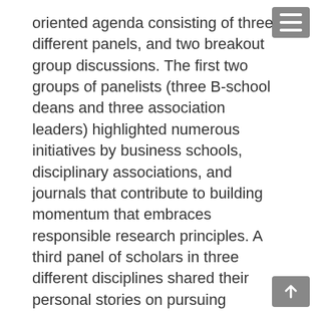oriented agenda consisting of three different panels, and two breakout group discussions. The first two groups of panelists (three B-school deans and three association leaders) highlighted numerous initiatives by business schools, disciplinary associations, and journals that contribute to building momentum that embraces responsible research principles. A third panel of scholars in three different disciplines shared their personal stories on pursuing responsible research. Two rounds of breakout group discussion sessions allowed participants to share personal experiences, explore new opportunities, discuss lessons learned when facing challenges, and most importantly, develop actionable commitments related to their professional roles.
This Summit is available to you through video recordings (links below in Agenda section) of the three panels. A full